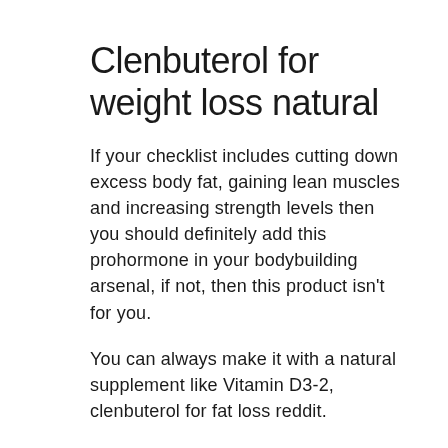Clenbuterol for weight loss natural
If your checklist includes cutting down excess body fat, gaining lean muscles and increasing strength levels then you should definitely add this prohormone in your bodybuilding arsenal, if not, then this product isn't for you.
You can always make it with a natural supplement like Vitamin D3-2, clenbuterol for fat loss reddit.
The most important thing to remember is that ProHormone is not meant to replace a workout, clenbuterol for fat loss results.
You're looking for a complete bodyweight lifting supplement that provides you with